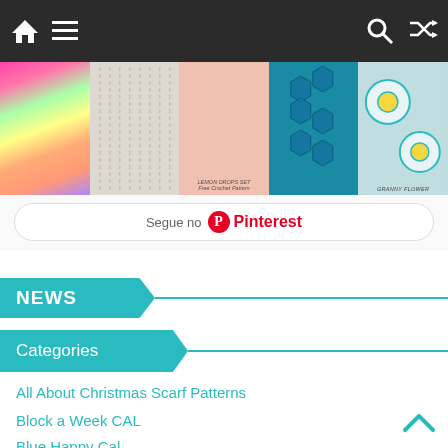Navigation bar with home, menu, search, and shuffle icons
[Figure (screenshot): Pinterest widget showing 5 crochet/craft images in a row with labels including 'Lemon Drops Set - Free Crochet Pattern' and 'Granny Flower']
Segue no Pinterest
NEWS
Categories
All About Christmas Scarf Patterns
Block a Week CAL
Blue Happy Cal